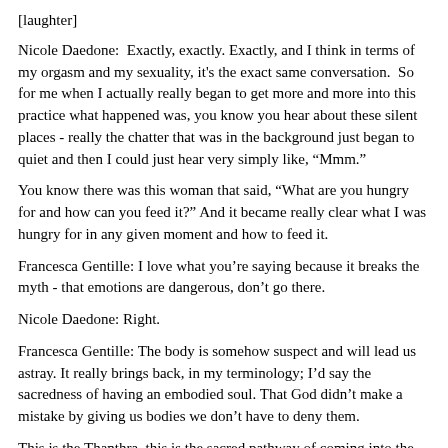[laughter]
Nicole Daedone:  Exactly, exactly. Exactly, and I think in terms of my orgasm and my sexuality, it’s the exact same conversation.  So for me when I actually really began to get more and more into this practice what happened was, you know you hear about these silent places - really the chatter that was in the background just began to quiet and then I could just hear very simply like, “Mmm.”
You know there was this woman that said, “What are you hungry for and how can you feed it?” And it became really clear what I was hungry for in any given moment and how to feed it.
Francesca Gentille: I love what you’re saying because it breaks the myth - that emotions are dangerous, don’t go there.
Nicole Daedone: Right.
Francesca Gentille: The body is somehow suspect and will lead us astray. It really brings back, in my terminology; I’d say the sacredness of having an embodied soul. That God didn’t make a mistake by giving us bodies we don’t have to deny them.
This is the Thanthra, this is the sacred pathway of coming into the body, deeply letting go of the, like you said, the chatter; and learning that true place in the body; that what’s-right-for-me-right-